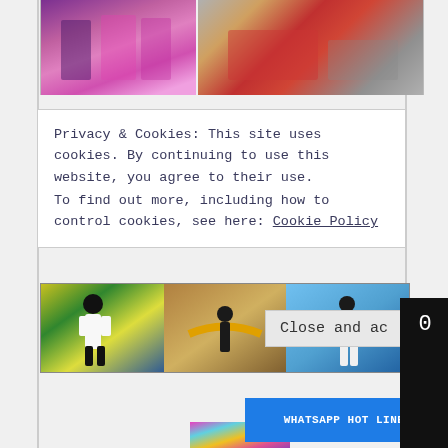[Figure (photo): Top partial photo strip showing people in colorful African dress on left, and a red car/vehicle on right, partially visible at top of page]
Privacy & Cookies: This site uses cookies. By continuing to use this website, you agree to their use.
To find out more, including how to control cookies, see here: Cookie Policy
Close and ac
0
[Figure (photo): Colorful iridescent/metallic decorative object, partially visible]
[Figure (photo): Gallery of three art images: left shows a painted figure with colorful background, center shows a building interior with golden winged figure, right shows a figure against blue sky]
WHATSAPP HOT LINE